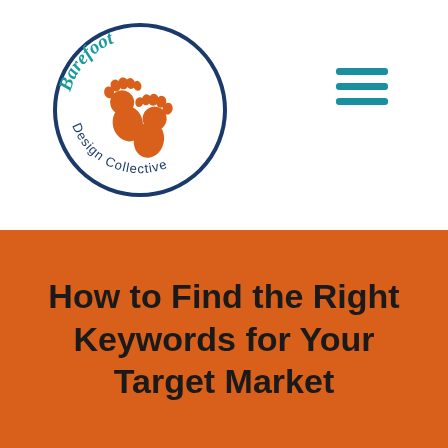[Figure (logo): Barefoot Design Collective logo: circular border with 'Barefoot' in teal script at top and 'Design Collective' along the bottom arc. Inside the circle are two orange footprints arranged together.]
[Figure (other): Hamburger menu icon: three horizontal teal lines stacked vertically, representing a navigation menu button.]
How to Find the Right Keywords for Your Target Market